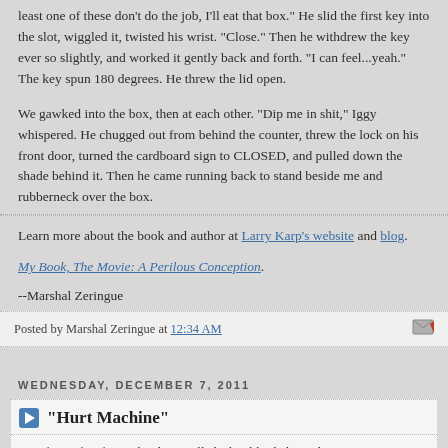least one of these don't do the job, I'll eat that box." He slid the first key into the slot, wiggled it, twisted his wrist. "Close." Then he withdrew the key ever so slightly, and worked it gently back and forth. "I can feel...yeah." The key spun 180 degrees. He threw the lid open.
We gawked into the box, then at each other. "Dip me in shit," Iggy whispered. He chugged out from behind the counter, threw the lock on his front door, turned the cardboard sign to CLOSED, and pulled down the shade behind it. Then he came running back to stand beside me and rubberneck over the box.
Learn more about the book and author at Larry Karp's website and blog.
My Book, The Movie: A Perilous Conception.
--Marshal Zeringue
Posted by Marshal Zeringue at 12:34 AM
WEDNESDAY, DECEMBER 7, 2011
"Hurt Machine"
Reed Farrel Coleman has been called a hard-boiled poet by NPR's Maureen Corrigan. He has published fourteen novels and is the three-time recipient of the